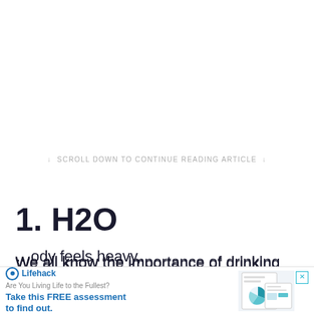↓ SCROLL DOWN TO CONTINUE READING ARTICLE ↓
1. H2O
We all know the importance of drinking water. What most people don't realize is the effect it can have on our focus and productivity. If you have ever been on a 6-hour … body feels heavy,
[Figure (other): Advertisement banner from Lifehack: 'Are You Living Life to the Fullest? Take this FREE assessment to find out.' with a document/chart graphic on the right and an X close button.]